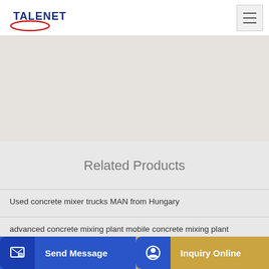TALENET
[Figure (photo): Hero banner image with light textured background (concrete/stone surface)]
Related Products
Used concrete mixer trucks MAN from Hungary
advanced concrete mixing plant mobile concrete mixing plant
...m for...
Send Message
Inquiry Online